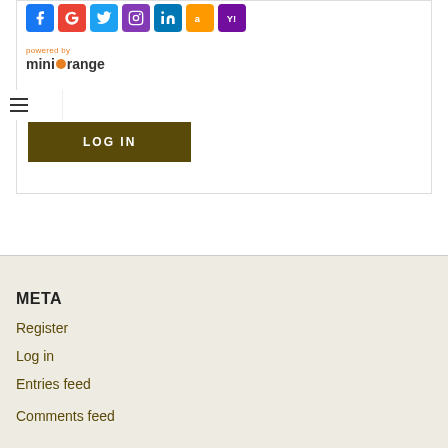[Figure (screenshot): Social login icons: Facebook (blue), Google (red), Twitter (blue), Instagram (purple), LinkedIn (blue), Amazon (orange), Yahoo (purple)]
[Figure (logo): miniOrange logo with 'powered by' text above in orange]
[Figure (screenshot): Hamburger menu icon (three horizontal lines)]
[Figure (screenshot): Dark olive/brown LOG IN button]
META
Register
Log in
Entries feed
Comments feed